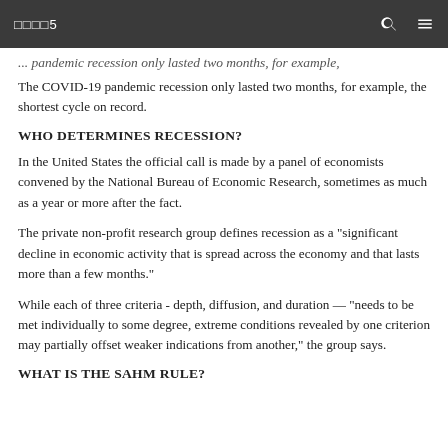□□□□5
the shortest cycle on record.
The COVID-19 pandemic recession only lasted two months, for example, the shortest cycle on record.
WHO DETERMINES RECESSION?
In the United States the official call is made by a panel of economists convened by the National Bureau of Economic Research, sometimes as much as a year or more after the fact.
The private non-profit research group defines recession as a "significant decline in economic activity that is spread across the economy and that lasts more than a few months."
While each of three criteria - depth, diffusion, and duration — "needs to be met individually to some degree, extreme conditions revealed by one criterion may partially offset weaker indications from another," the group says.
WHAT IS THE SAHM RULE?